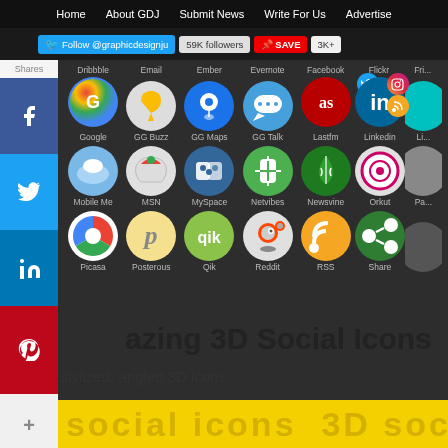Home   About GDJ   Submit News   Write For Us   Advertise
[Figure (screenshot): Twitter follow button bar with Follow @graphicdesignju, 59K followers badge, Pinterest SAVE button and 3K+ count]
[Figure (illustration): Grid of 3D social media icons on dark background including Dribbble, Email, Ember, Evernote, Facebook, Flickr, Google, GG Buzz, GG Maps, GG Talk, Lastfm, LinkedIn, Mobile Me, MSN, MySpace, Netvibes, Newsvine, Orkut, Picasa, Posterous, Qik, Reddit, RSS, Share icons with small overlay social badges (Twitter, Facebook, Instagram, RSS, LinkedIn)]
Amazing 3D Social Icons
A set of stylized, angled 3D icons.
[Figure (other): Yellow banner bar at bottom with repeated '3D social icons' text in large golden letters]